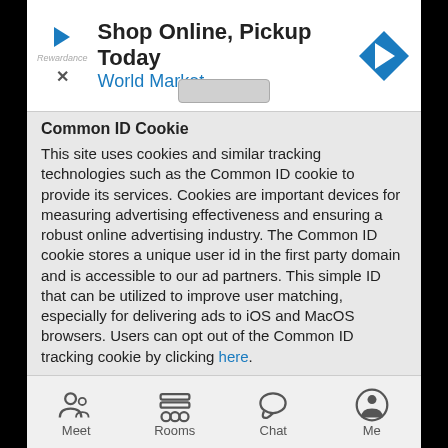[Figure (screenshot): Advertisement banner: Shop Online, Pickup Today - World Market with navigation arrow icon]
Common ID Cookie
This site uses cookies and similar tracking technologies such as the Common ID cookie to provide its services. Cookies are important devices for measuring advertising effectiveness and ensuring a robust online advertising industry. The Common ID cookie stores a unique user id in the first party domain and is accessible to our ad partners. This simple ID that can be utilized to improve user matching, especially for delivering ads to iOS and MacOS browsers. Users can opt out of the Common ID tracking cookie by clicking here.
Advertising Privacy Settings
FOR EU USERS ONLY: When you use our site, pre-selected companies may access and use certain information on your device and about your interests to serve ads or personalized content. You
[Figure (screenshot): Mobile app navigation bar with Meet, Rooms, Chat, Me icons]